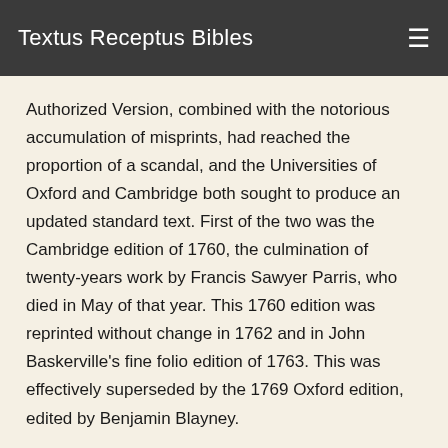Textus Receptus Bibles
Authorized Version, combined with the notorious accumulation of misprints, had reached the proportion of a scandal, and the Universities of Oxford and Cambridge both sought to produce an updated standard text. First of the two was the Cambridge edition of 1760, the culmination of twenty-years work by Francis Sawyer Parris, who died in May of that year. This 1760 edition was reprinted without change in 1762 and in John Baskerville's fine folio edition of 1763. This was effectively superseded by the 1769 Oxford edition, edited by Benjamin Blayney.